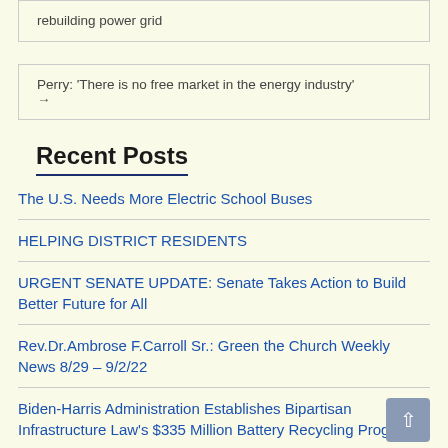rebuilding power grid
Perry: 'There is no free market in the energy industry' →
Recent Posts
The U.S. Needs More Electric School Buses
HELPING DISTRICT RESIDENTS
URGENT SENATE UPDATE: Senate Takes Action to Build Better Future for All
Rev.Dr.Ambrose F.Carroll Sr.: Green the Church Weekly News 8/29 – 9/2/22
Biden-Harris Administration Establishes Bipartisan Infrastructure Law's $335 Million Battery Recycling Programs